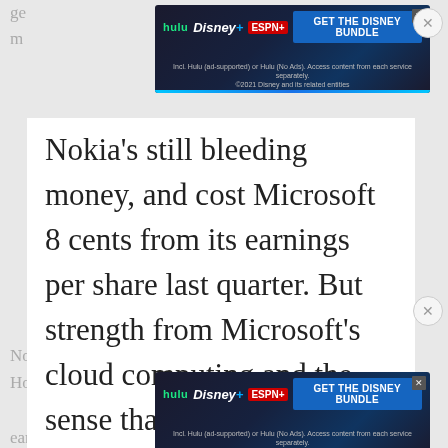[Figure (screenshot): Hulu Disney+ ESPN+ GET THE DISNEY BUNDLE advertisement banner at top]
Nokia's still bleeding money, and cost Microsoft 8 cents from its earnings per share last quarter. But strength from Microsoft's cloud computing and the sense that CEO Satya Nadella, who replaced Steve Ballmer in February, is containing Nokia's losses has impressed analysts. Microsoft expects
Nokia to break even by 2016, said Amy Ho... earnings call on Tuesday
[Figure (screenshot): Hulu Disney+ ESPN+ GET THE DISNEY BUNDLE advertisement banner at bottom]